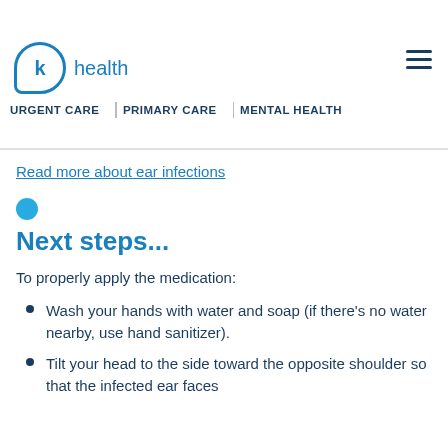K Health | URGENT CARE  PRIMARY CARE  MENTAL HEALTH
Diagnosis is made by looking at the canal for inflammation, swelling, and other signs of infection, by pulling on the top part of the ear or pressing on the notch at the front of the ear called the tragus causes pain, these can also be signs of an outer ear infection.
Read more about ear infections
Next steps...
To properly apply the medication:
Wash your hands with water and soap (if there's no water nearby, use hand sanitizer).
Tilt your head to the side toward the opposite shoulder so that the infected ear faces